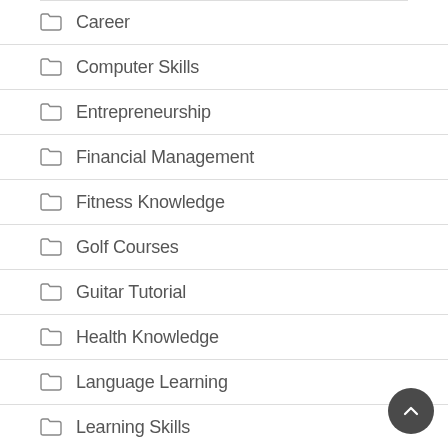Career
Computer Skills
Entrepreneurship
Financial Management
Fitness Knowledge
Golf Courses
Guitar Tutorial
Health Knowledge
Language Learning
Learning Skills